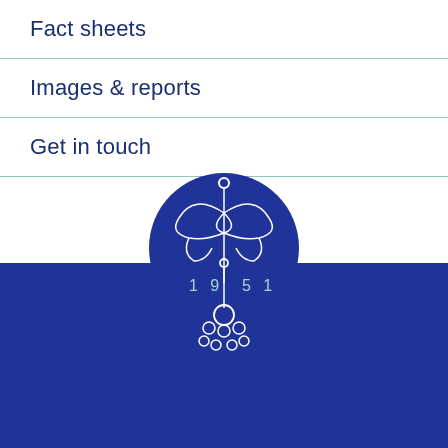Fact sheets
Images & reports
Get in touch
[Figure (logo): Decorative emblem/logo with stylized umbrella or plant form, white on dark blue circular background, with '1 9   5 1' text and circular ornamental elements below, year 1951 displayed]